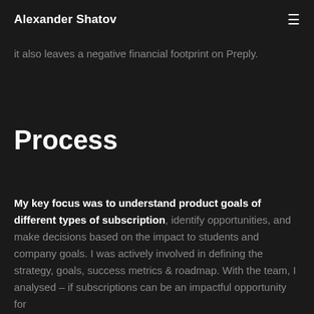Alexander Shatov
it also leaves a negative financial footprint on Preply.
Process
My key focus was to understand product goals of different types of subscription, identify opportunities, and make decisions based on the impact to students and company goals. I was actively involved in defining the strategy, goals, success metrics & roadmap. With the team, I analysed – if subscriptions can be an impactful opportunity for